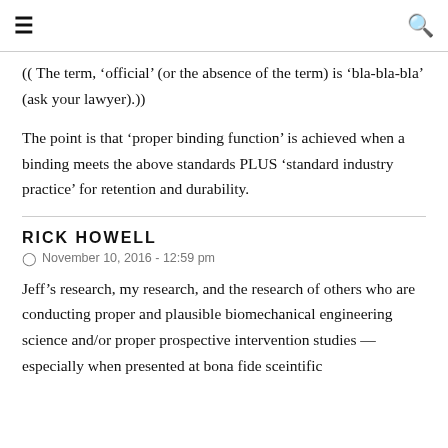≡  🔍
(( The term, ‘official’ (or the absence of the term) is ‘bla-bla-bla’ (ask your lawyer).))
The point is that ‘proper binding function’ is achieved when a binding meets the above standards PLUS ‘standard industry practice’ for retention and durability.
RICK HOWELL
November 10, 2016 - 12:59 pm
Jeff’s research, my research, and the research of others who are conducting proper and plausible biomechanical engineering science and/or proper prospective intervention studies — especially when presented at bona fide sceintific